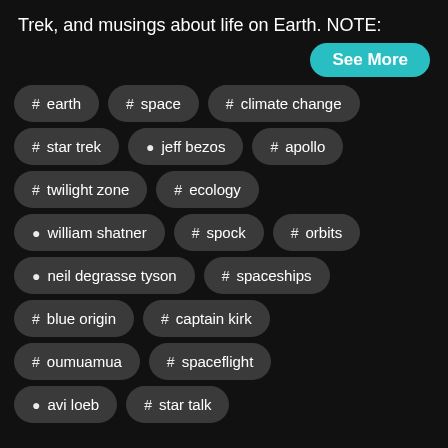Trek, and musings about life on Earth. NOTE:
See More
# earth
# space
# climate change
# star trek
person jeff bezos
# apollo
# twilight zone
# ecology
person william shatner
# spock
# orbits
person neil degrasse tyson
# spaceships
# blue origin
# captain kirk
# oumuamua
# spaceflight
person avi loeb
# star talk